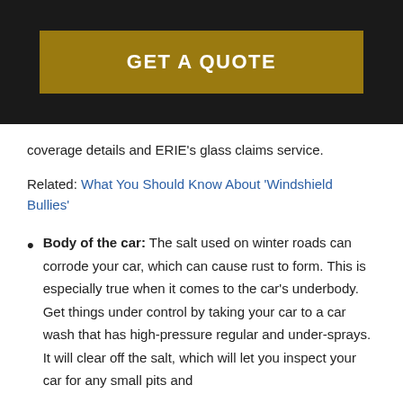[Figure (other): GET A QUOTE button banner with dark background and gold/yellow button]
coverage details and ERIE's glass claims service.
Related: What You Should Know About 'Windshield Bullies'
Body of the car: The salt used on winter roads can corrode your car, which can cause rust to form. This is especially true when it comes to the car's underbody. Get things under control by taking your car to a car wash that has high-pressure regular and under-sprays. It will clear off the salt, which will let you inspect your car for any small pits and